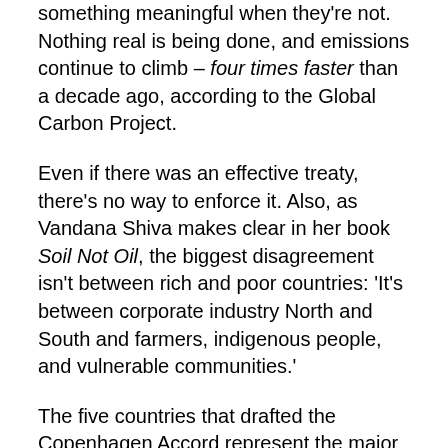something meaningful when they're not. Nothing real is being done, and emissions continue to climb – four times faster than a decade ago, according to the Global Carbon Project.
Even if there was an effective treaty, there's no way to enforce it. Also, as Vandana Shiva makes clear in her book Soil Not Oil, the biggest disagreement isn't between rich and poor countries: 'It's between corporate industry North and South and farmers, indigenous people, and vulnerable communities.'
The five countries that drafted the Copenhagen Accord represent the major polluters from four continents: the United States, China, India, South Africa, and Brazil – all disproportionately heavy polluters due in large part to their reliance on coal, and in Brazil's case deforestation. South Africa receives a World Bank loan of $3.75 billio...